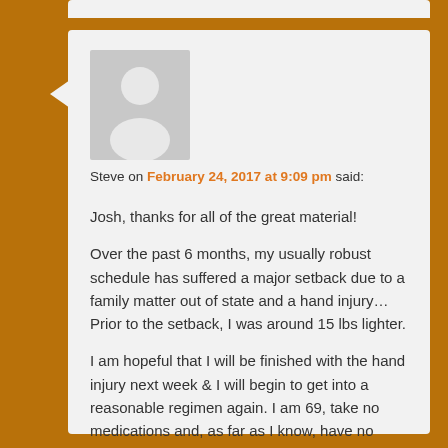[Figure (illustration): Generic user avatar silhouette — gray rectangle with white person silhouette icon]
Steve on February 24, 2017 at 9:09 pm said:
Josh, thanks for all of the great material!

Over the past 6 months, my usually robust schedule has suffered a major setback due to a family matter out of state and a hand injury… Prior to the setback, I was around 15 lbs lighter.

I am hopeful that I will be finished with the hand injury next week & I will begin to get into a reasonable regimen again. I am 69, take no medications and, as far as I know, have no health conditions except sleep apnea for which i use a c-pap. I would like to lose 32 lbs.